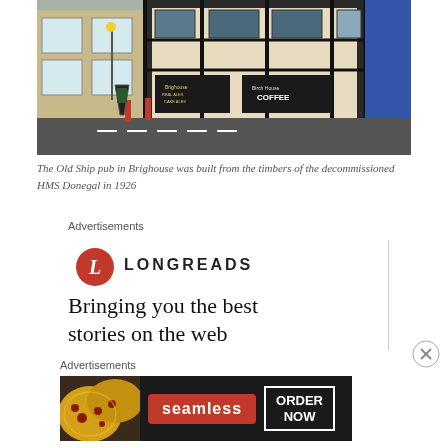[Figure (photo): Street-level photo of The Old Ship pub in Brighouse, showing a mix of stone and black-and-white timber-framed buildings. Signs for 'COFFEE' and 'CAKE ALES' visible. Road in the foreground.]
The Old Ship pub in Brighouse was built from the timbers of the decommissioned HMS Donegal in 1926
Advertisements
[Figure (logo): Longreads advertisement: red circle logo with italic L, text LONGREADS, tagline 'Bringing you the best stories on the web']
Advertisements
[Figure (screenshot): Seamless food delivery advertisement with pizza image, red Seamless button, and ORDER NOW button in white border on dark background.]